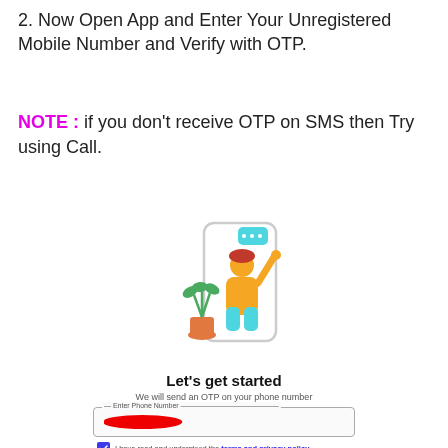2. Now Open App and Enter Your Unregistered Mobile Number and Verify with OTP.
NOTE : if you don't receive OTP on SMS then Try using Call.
[Figure (illustration): Illustration of a person holding a phone with a chat bubble, standing next to a plant, inside a phone frame outline]
[Figure (screenshot): App screen showing: heading 'Let's get started', subtitle 'We will send an OTP on your phone number', a phone number input field with a redacted number, a checked checkbox with 'I have read and understood the terms and privacy policy', and a blue 'PROCEED SECURELY' button]